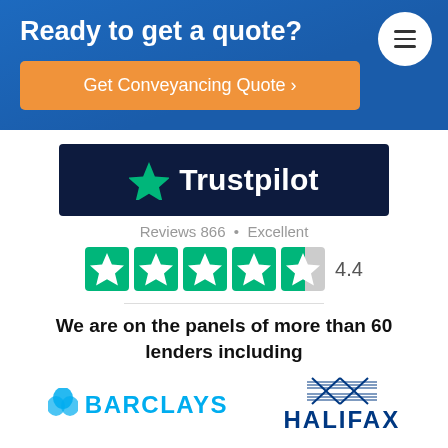Ready to get a quote?
Get Conveyancing Quote >
[Figure (logo): Trustpilot logo on dark navy background with green star]
Reviews 866 • Excellent
[Figure (infographic): Trustpilot 5 green star rating boxes with 4.4 score, last star partially filled]
We are on the panels of more than 60 lenders including
[Figure (logo): Barclays logo with eagle icon and BARCLAYS text in blue]
[Figure (logo): Halifax logo with crosshatch X design and HALIFAX text in navy]